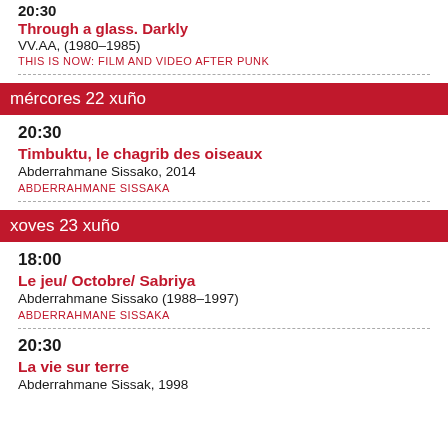20:30
Through a glass. Darkly
VV.AA, (1980–1985)
THIS IS NOW: FILM AND VIDEO AFTER PUNK
mércores 22 xuño
20:30
Timbuktu, le chagrib des oiseaux
Abderrahmane Sissako, 2014
ABDERRAHMANE SISSAKA
xoves 23 xuño
18:00
Le jeu/ Octobre/ Sabriya
Abderrahmane Sissako (1988–1997)
ABDERRAHMANE SISSAKA
20:30
La vie sur terre
Abderrahmane Sissak, 1998